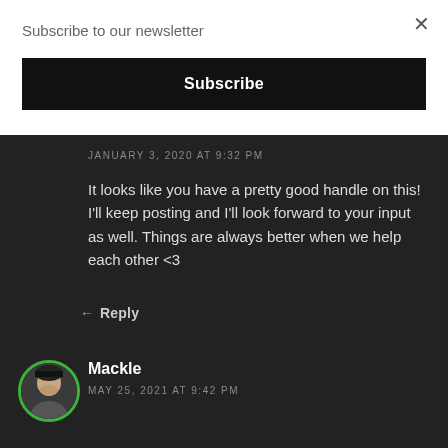Subscribe to our newsletter
×
Subscribe
JANUARY 3, 2020 AT 9:32 PM
It looks like you have a pretty good handle on this! I'll keep posting and I'll look forward to your input as well. Things are always better when we help each other <3
Reply
Mackle
MAY 25, 2021 AT 9:42 PM